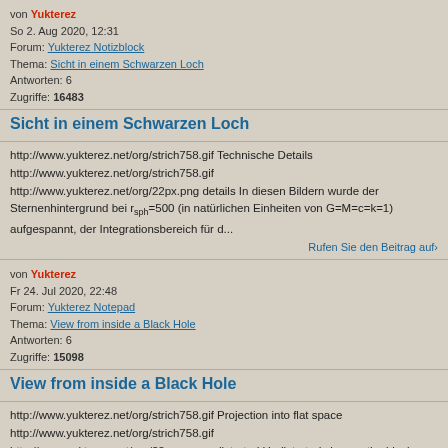von Yukterez
So 2. Aug 2020, 12:31
Forum: Yukterez Notizblock
Thema: Sicht in einem Schwarzen Loch
Antworten: 6
Zugriffe: 16483
Sicht in einem Schwarzen Loch
http://www.yukterez.net/org/strich758.gif Technische Details http://www.yukterez.net/org/strich758.gif http://www.yukterez.net/org/22px.png details In diesen Bildern wurde der Sternenhintergrund bei rsph=500 (in natürlichen Einheiten von G=M=c=k=1) aufgespannt, der Integrationsbereich für d...
Rufen Sie den Beitrag auf ›
von Yukterez
Fr 24. Jul 2020, 22:48
Forum: Yukterez Notepad
Thema: View from inside a Black Hole
Antworten: 6
Zugriffe: 15098
View from inside a Black Hole
http://www.yukterez.net/org/strich758.gif Projection into flat space http://www.yukterez.net/org/strich758.gif http://www.yukterez.net/org/22px.png undistorted Undistorted view on the black hole's disk and surfaces from an angle of Θ=80°: http://www.yukterez.net/org/relativistic.raytracer/kerr....
Rufen Sie den Beitrag auf ›